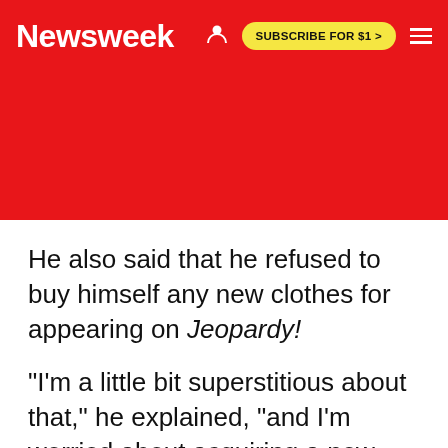Newsweek | SUBSCRIBE FOR $1 >
He also said that he refused to buy himself any new clothes for appearing on Jeopardy!
"I'm a little bit superstitious about that," he explained, "and I'm worried about acquiring a new wardrobe and then boom, it all ends just like that, and I'm never gonna be able to wear those clothes again."